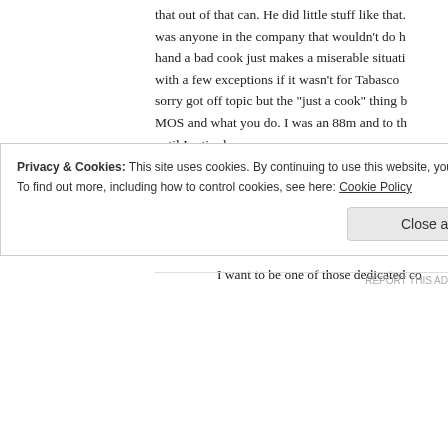that out of that can. He did little stuff like that. There was anyone in the company that wouldn't do his job. On the other hand a bad cook just makes a miserable situation. For instance with a few exceptions if it wasn't for Tabasco ... sorry got off topic but the "just a cook" thing bugged me. Your MOS and what you do. I was an 88m and to the day I retired until I retired.
★ Like
sam says:
January 18, 2015 at 18:05
I want to be one of those dedicated co...
Privacy & Cookies: This site uses cookies. By continuing to use this website, you agree to their use.
To find out more, including how to control cookies, see here: Cookie Policy
Close and accept